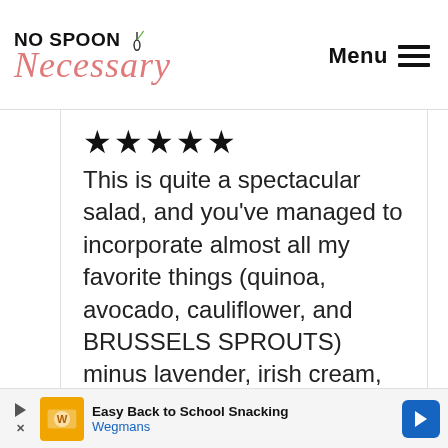No Spoon Necessary | Menu
★★★★★
This is quite a spectacular salad, and you've managed to incorporate almost all my favorite things (quinoa, avocado, cauliflower, and BRUSSELS SPROUTS) minus lavender, irish cream, and dulce de
[Figure (screenshot): Wegmans advertisement banner: Easy Back to School Snacking — Wegmans]